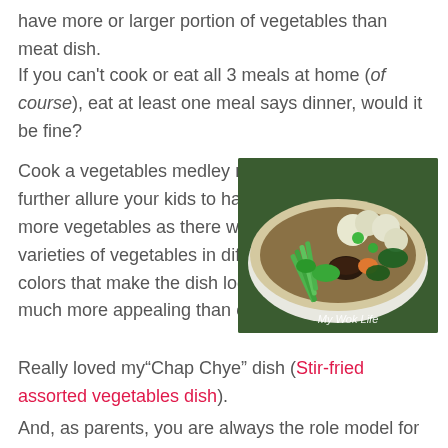have more or larger portion of vegetables than meat dish.
If you can't cook or eat all 3 meals at home (of course), eat at least one meal says dinner, would it be fine?
Cook a vegetables medley may further allure your kids to have more vegetables as there will be varieties of vegetables in different colors that make the dish looks much more appealing than others.
[Figure (photo): A bowl of stir-fried assorted vegetables (Chap Chye) with green beans, mushrooms, baby corn, cauliflower, and other colorful vegetables in sauce. Watermark: My Wok Life]
Really loved my“Chap Chye” dish (Stir-fried assorted vegetables dish).
And, as parents, you are always the role model for our kids.